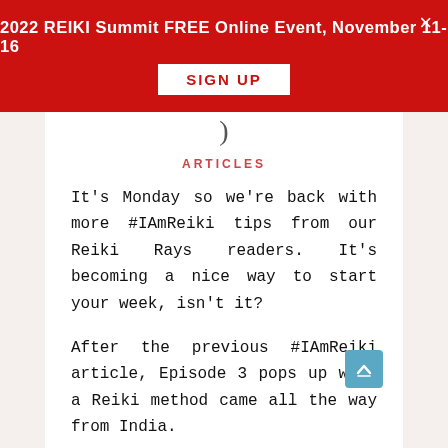2022 REIKI Summit FREE Online Event, November 11-16 SIGN UP
ARTICLES
It's Monday so we're back with more #IAmReiki tips from our Reiki Rays readers. It's becoming a nice way to start your week, isn't it?
After the previous #IAmReiki article, Episode 3 pops up with a Reiki method came all the way from India.
I'm starting by asking you how often are